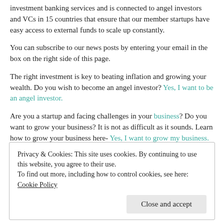investment banking services and is connected to angel investors and VCs in 15 countries that ensure that our member startups have easy access to external funds to scale up constantly.
You can subscribe to our news posts by entering your email in the box on the right side of this page.
The right investment is key to beating inflation and growing your wealth. Do you wish to become an angel investor? Yes, I want to be an angel investor.
Are you a startup and facing challenges in your business? Do you want to grow your business? It is not as difficult as it sounds. Learn how to grow your business here- Yes, I want to grow my business.
Privacy & Cookies: This site uses cookies. By continuing to use this website, you agree to their use. To find out more, including how to control cookies, see here: Cookie Policy